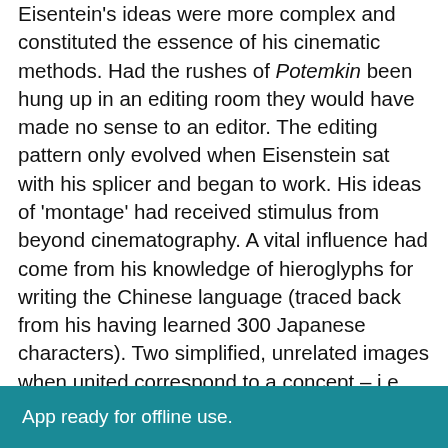Eisentein's ideas were more complex and constituted the essence of his cinematic methods. Had the rushes of Potemkin been hung up in an editing room they would have made no sense to an editor. The editing pattern only evolved when Eisenstein sat with his splicer and began to work. His ideas of 'montage' had received stimulus from beyond cinematography. A vital influence had come from his knowledge of hieroglyphs for writing the Chinese language (traced back from his having learned 300 Japanese characters). Two simplified, unrelated images when united correspond to a concept – i.e. the ideogram 'to weep' is an eye and water. A simple example of Eisentein's adaptation is the shot of the Cossack with raised sword followed by the shot of the spectacled woman whose eye streams blood. It is the spectator who jumps to
App ready for offline use.